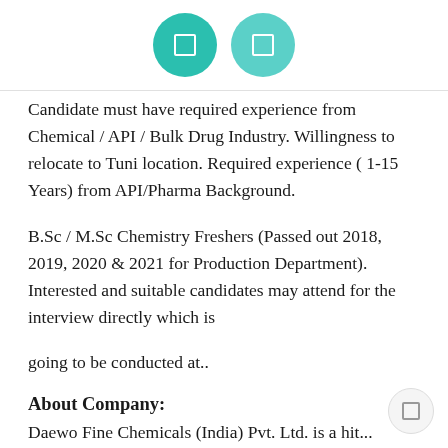[Figure (other): Two circular icon buttons at the top: one dark teal and one lighter teal, each containing a small white square icon.]
Candidate must have required experience from Chemical / API / Bulk Drug Industry. Willingness to relocate to Tuni location. Required experience ( 1-15 Years) from API/Pharma Background.
B.Sc / M.Sc Chemistry Freshers (Passed out 2018, 2019, 2020 & 2021 for Production Department). Interested and suitable candidates may attend for the interview directly which is
going to be conducted at..
About Company:
Daewo Fine Chemicals (India) Pvt. Ltd. is a hit...